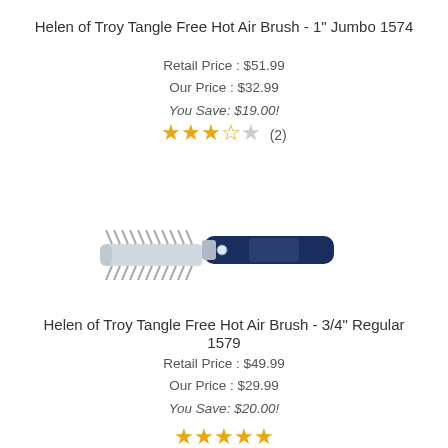Helen of Troy Tangle Free Hot Air Brush - 1" Jumbo 1574
Retail Price : $51.99
Our Price : $32.99
You Save: $19.00!
[Figure (other): Star rating showing 3.5 out of 5 stars with (2) reviews]
[Figure (photo): Helen of Troy Tangle Free Hot Air Brush product image - dark blue handled brush at an angle]
Helen of Troy Tangle Free Hot Air Brush - 3/4" Regular 1579
Retail Price : $49.99
Our Price : $29.99
You Save: $20.00!
[Figure (other): Star rating showing 4 out of 5 stars (partially visible)]